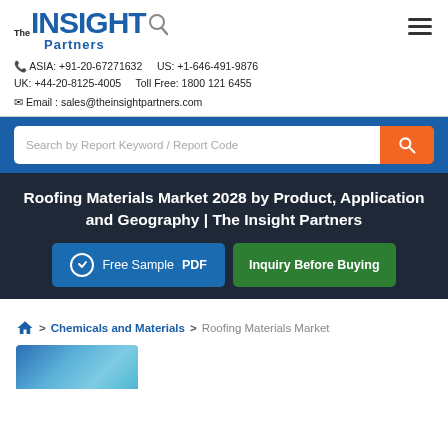The INSIGHT Partners
ASIA: +91-20-67271632   US: +1-646-491-9876
UK: +44-20-8125-4005   Toll Free: 1800 121 6455
Email : sales@theinsightpartners.com
Search by Report Keyword / Report Code
Roofing Materials Market 2028 by Product, Application and Geography | The Insight Partners
Free Sample PDF   Inquiry Before Buying
Home > Chemicals and Materials > Roofing Materials Market